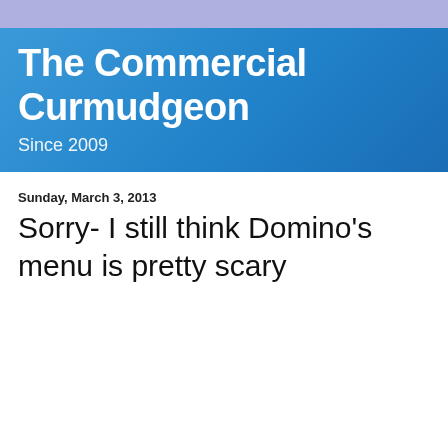The Commercial Curmudgeon
Since 2009
Sunday, March 3, 2013
Sorry- I still think Domino's menu is pretty scary